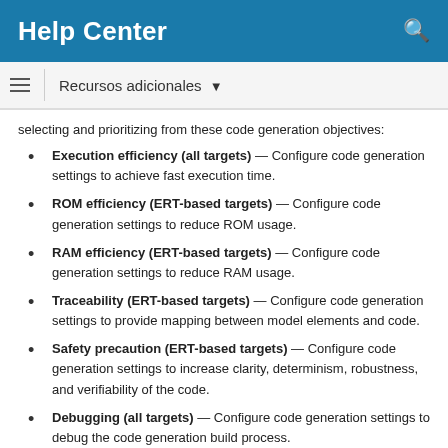Help Center
Recursos adicionales
selecting and prioritizing from these code generation objectives:
Execution efficiency (all targets) — Configure code generation settings to achieve fast execution time.
ROM efficiency (ERT-based targets) — Configure code generation settings to reduce ROM usage.
RAM efficiency (ERT-based targets) — Configure code generation settings to reduce RAM usage.
Traceability (ERT-based targets) — Configure code generation settings to provide mapping between model elements and code.
Safety precaution (ERT-based targets) — Configure code generation settings to increase clarity, determinism, robustness, and verifiability of the code.
Debugging (all targets) — Configure code generation settings to debug the code generation build process.
MISRA C:2012 guidelines (ERT-based targets) — Configure code generation settings to increase compliance with MISRA C:2012 guidelines.